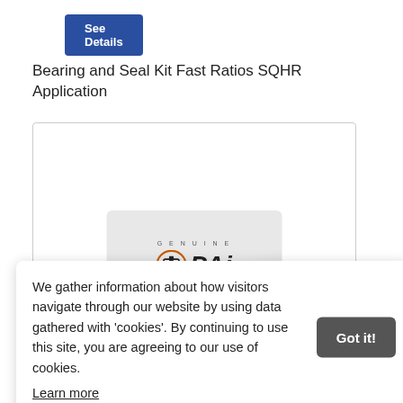See Details
Bearing and Seal Kit Fast Ratios SQHR Application
[Figure (photo): PAI Genuine branded product card/packaging partially visible in a white-bordered product image box]
We gather information about how visitors navigate through our website by using data gathered with 'cookies'. By continuing to use this site, you are agreeing to our use of cookies.
Learn more
Got it!
Rockwell Bearing And Seal Kit, KIT2112